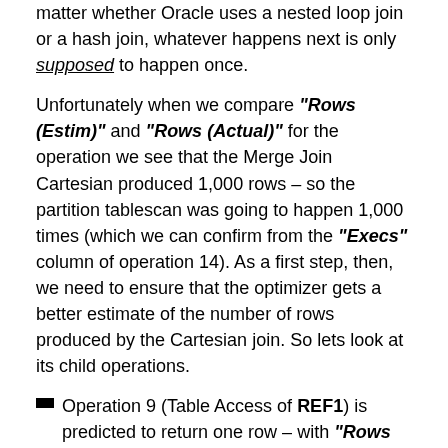matter whether Oracle uses a nested loop join or a hash join, whatever happens next is only supposed to happen once.
Unfortunately when we compare "Rows (Estim)" and "Rows (Actual)" for the operation we see that the Merge Join Cartesian produced 1,000 rows – so the partition tablescan was going to happen 1,000 times (which we can confirm from the "Execs" column of operation 14). As a first step, then, we need to ensure that the optimizer gets a better estimate of the number of rows produced by the Cartesian join. So lets look at its child operations.
Operation 9 (Table Access of REF1) is predicted to return one row – with "Rows (actual)" = 1.
Operation 11 (Buffer Sort of data from STAGE1) is predicted to return 84 rows – with "Rows (actual)" = 1,000.